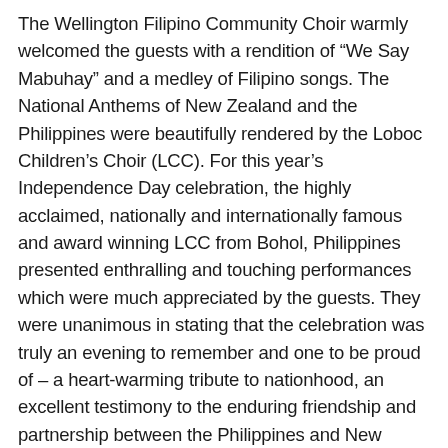The Wellington Filipino Community Choir warmly welcomed the guests with a rendition of “We Say Mabuhay” and a medley of Filipino songs. The National Anthems of New Zealand and the Philippines were beautifully rendered by the Loboc Children’s Choir (LCC). For this year’s Independence Day celebration, the highly acclaimed, nationally and internationally famous and award winning LCC from Bohol, Philippines presented enthralling and touching performances which were much appreciated by the guests. They were unanimous in stating that the celebration was truly an evening to remember and one to be proud of – a heart-warming tribute to nationhood, an excellent testimony to the enduring friendship and partnership between the Philippines and New Zealand and an amazing showcase of Filipino culture, talent and artistry.